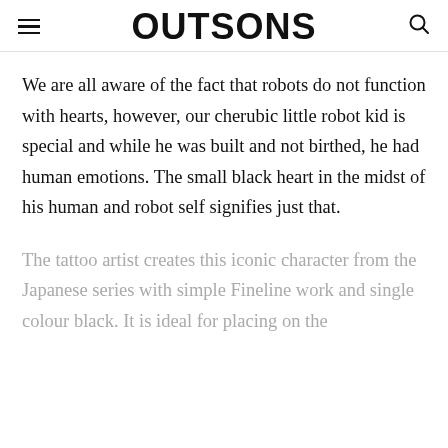OUTSONS
We are all aware of the fact that robots do not function with hearts, however, our cherubic little robot kid is special and while he was built and not birthed, he had human emotions. The small black heart in the midst of his human and robot self signifies just that.
The tattoo artist creates this iconic character from the Japanese series with simple Fineline work and single colour black. It is ideal for placing on the